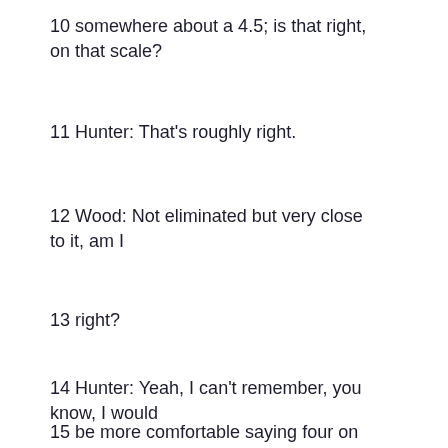10 somewhere about a 4.5; is that right, on that scale?
11 Hunter: That's roughly right.
12 Wood: Not eliminated but very close to it, am I
13 right?
14 Hunter: Yeah, I can't remember, you know, I would
15 be more comfortable saying four on